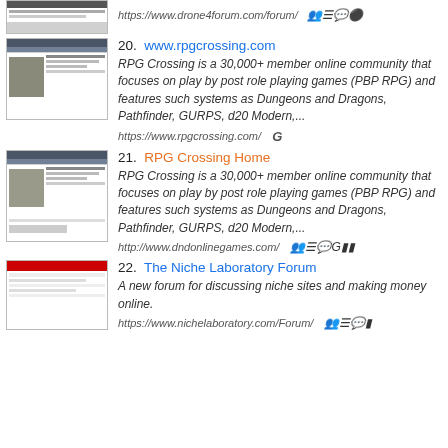[Figure (screenshot): Partial screenshot of drone-forum.com website thumbnail at top of page]
https://www.drone4forum.com/forum/
[Figure (screenshot): Screenshot thumbnail of www.rpgcrossing.com website]
20. www.rpgcrossing.com
RPG Crossing is a 30,000+ member online community that focuses on play by post role playing games (PBP RPG) and features such systems as Dungeons and Dragons, Pathfinder, GURPS, d20 Modern,...
https://www.rpgcrossing.com/
[Figure (screenshot): Screenshot thumbnail of RPG Crossing Home website]
21. RPG Crossing Home
RPG Crossing is a 30,000+ member online community that focuses on play by post role playing games (PBP RPG) and features such systems as Dungeons and Dragons, Pathfinder, GURPS, d20 Modern,...
http://www.dndonlinegames.com/
[Figure (screenshot): Screenshot thumbnail of The Niche Laboratory Forum website with red header]
22. The Niche Laboratory Forum
A new forum for discussing niche sites and making money online.
https://www.nichelaboratory.com/Forum/